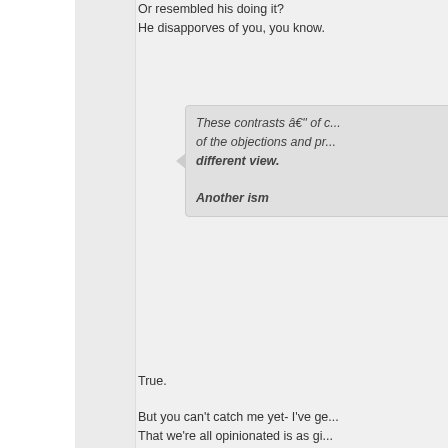Or resembled his doing it?
He disapporves of you, you know.
These contrasts â€" of c...
of the objections and pr...
different view.

Another ism
True.
But you can't catch me yet- I've ge...
That we're all opinionated is as gi...
Simple really: Between t...
â€˜deepnessâ€™ luxate...
This because of definitio...
Sounds pretentious â€"
Ha, ha.
Eat me- how is critizicing a body p...
Isms are in themselves propagane...
If all I do is call Platonic Idealisms...
base, nor gives me hope, joy, eve...
anything- have I claimed moral gr...